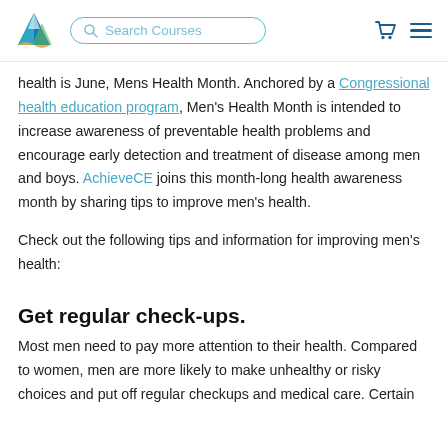Search Courses
health is June, Mens Health Month. Anchored by a Congressional health education program, Men's Health Month is intended to increase awareness of preventable health problems and encourage early detection and treatment of disease among men and boys. AchieveCE joins this month-long health awareness month by sharing tips to improve men's health.
Check out the following tips and information for improving men's health:
Get regular check-ups.
Most men need to pay more attention to their health. Compared to women, men are more likely to make unhealthy or risky choices and put off regular checkups and medical care. Certain